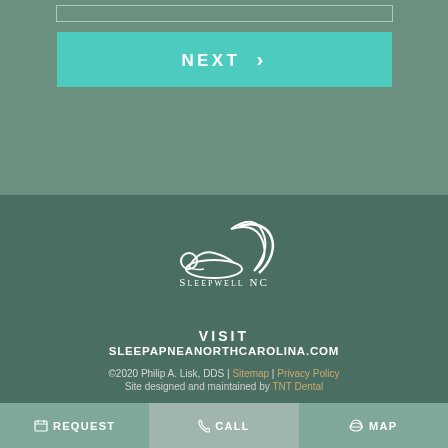[Figure (other): Input bar placeholder at top]
NEXT >
[Figure (logo): SleepWell NC logo — sleeping figure silhouette with crescent, white on dark teal background, with text SLEEPWELL NC]
VISIT SLEEPAPNEANORTHCAROLINA.COM
©2020 Philip A. Lisk, DDS | Sitemap | Privacy Policy
Site designed and maintained by TNT Dental
REQUEST   CALL   MAP